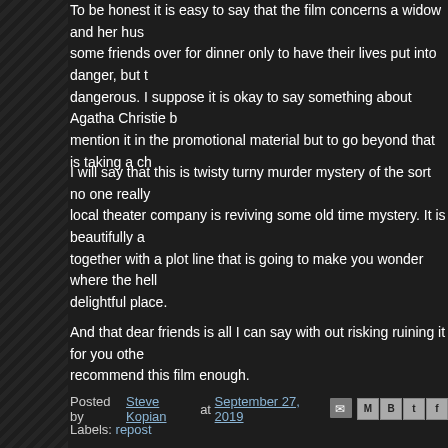To be honest it is easy to say that the film concerns a widow and her husband inviting some friends over for dinner only to have their lives put into danger, but that is dangerous. I suppose it is okay to say something about Agatha Christie because they mention it in the promotional material but to go beyond that is taking a chance.
I will say that this is twisty turny murder mystery of the sort no one really makes. It's like a local theater company is reviving some old time mystery. It is beautifully acted and put together with a plot line that is going to make you wonder where the hell you are - in a delightful place.
And that dear friends is all I can say with out risking ruining it for you others. I can not recommend this film enough.
Posted by Steve Kopian at September 27, 2019
Labels: repost
No comments:
Post a Comment